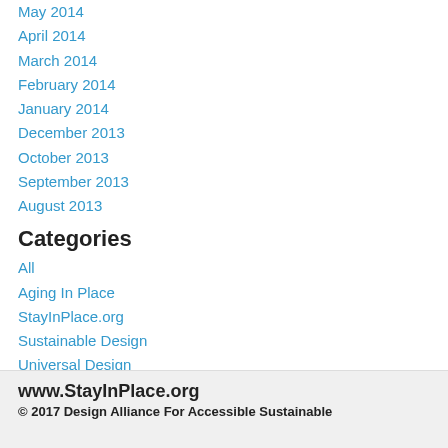May 2014
April 2014
March 2014
February 2014
January 2014
December 2013
October 2013
September 2013
August 2013
Categories
All
Aging In Place
StayInPlace.org
Sustainable Design
Universal Design
RSS Feed
www.StayInPlace.org
© 2017 Design Alliance For Accessible Sustainable